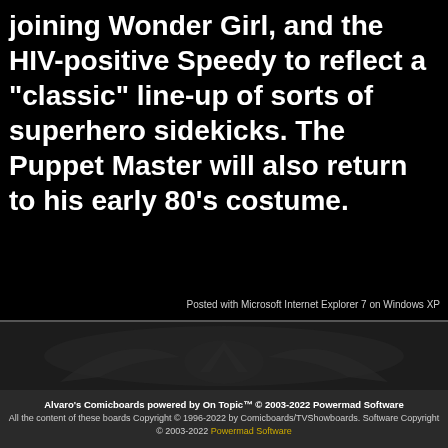joining Wonder Girl, and the HIV-positive Speedy to reflect a "classic" line-up of sorts of superhero sidekicks. The Puppet Master will also return to his early 80's costume.
Posted with Microsoft Internet Explorer 7 on Windows XP
[Figure (illustration): Dark background with faint superhero/comic logo watermark illustration]
Alvaro's Comicboards powered by On Topic™ © 2003-2022 Powermad Software
All the content of these boards Copyright © 1996-2022 by Comicboards/TVShowboards. Software Copyright © 2003-2022 Powermad Software